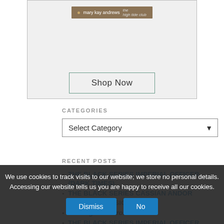[Figure (screenshot): Book advertisement banner showing 'mary kay andrews the high tide club' with a Shop Now button inside a bordered box]
CATEGORIES
Select Category
RECENT POSTS
THE BLACK SERIES IMPERIAL OFFICER (DARK TIMES)
THE BLACK SERIES CASSIAN ANDOR (ALDHANI MISSION)
Coming Soon from Funko!
THE BLACK SERIES IMPERIAL OFFICER (FERRIX)
THE BLACK SERIES SHORETROOPER
We use cookies to track visits to our website; we store no personal details. Accessing our website tells us you are happy to receive all our cookies.
Dismiss  No